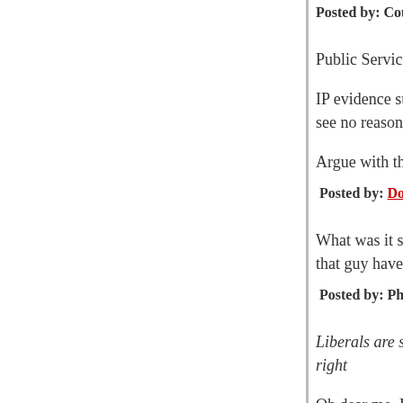Posted by: Countme-In | December 20, 2012 at 02:04 PM
Public Service Announcement:
IP evidence suggests that suzy_q has no connect... see no reason to ban her.
Argue with the arguments, people.
Posted by: Doctor Science | December 20, 2012 at 02:19 PM
What was it someone once said about Americans... that guy have egg on his face!
Posted by: Phil | December 20, 2012 at 02:24 PM
Liberals are so angry about the right to bear arms... right
Oh dear me. But, but, but...what if it is clearly not
Where does that leave us?
Gary Wills.....is a nitwit... Eloquent? Perhaps, dep... and unassailibly reasoned? Have we reached th...